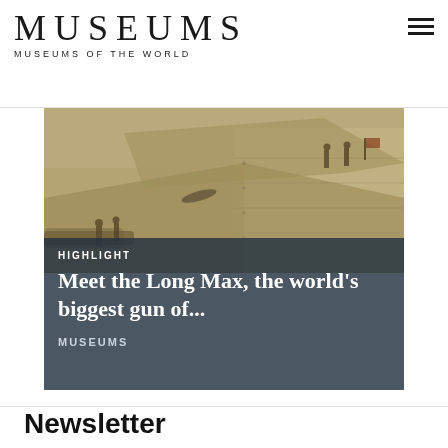MUSEUMS
MUSEUMS OF THE WORLD
[Figure (photo): Sepia-toned historical photograph showing a large fortification or gun emplacement with soldiers standing on and around a massive concrete structure. Several uniformed soldiers are visible at different levels of the structure.]
HIGHLIGHT
Meet the Long Max, the world's biggest gun of...
MUSEUMS
Newsletter
If you're interested in cultural heritage, sign up for our